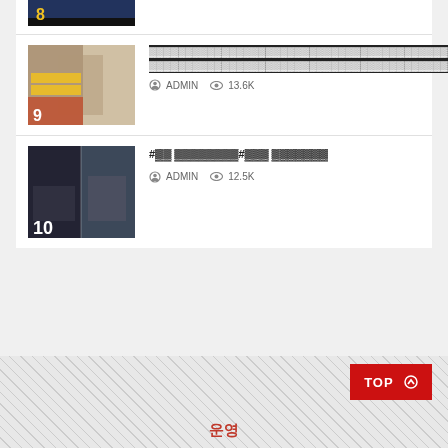[Figure (screenshot): Thumbnail image numbered 8 at top of page, cropped]
Article 9 with CJK title containing #hashtag, by ADMIN, 13.6K views
#hashtag CJK title #hashtag CJK text, by ADMIN, 12.5K views
TOP ↑
운영